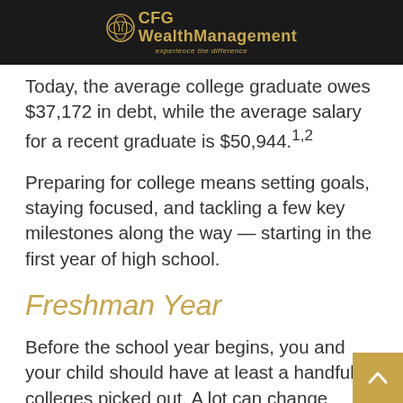CFG WealthManagement — experience the difference
Today, the average college graduate owes $37,172 in debt, while the average salary for a recent graduate is $50,944.1,2
Preparing for college means setting goals, staying focused, and tackling a few key milestones along the way — starting in the first year of high school.
Freshman Year
Before the school year begins, you and your child should have at least a handful of colleges picked out. A lot can change during high school, so remaining flexible, but focused on your shared goals, is crucial. It may be helpful to meet with your